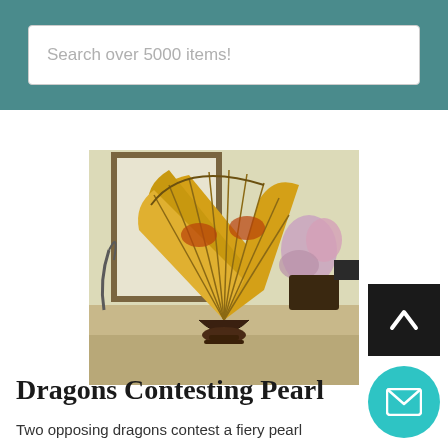Search over 5000 items!
[Figure (photo): A large golden decorative Chinese hand fan with dragon artwork displayed on a wooden stand, placed on a marble surface with a framed mirror and flower arrangement in the background.]
Dragons Contesting Pearl
Two opposing dragons contest a fiery pearl